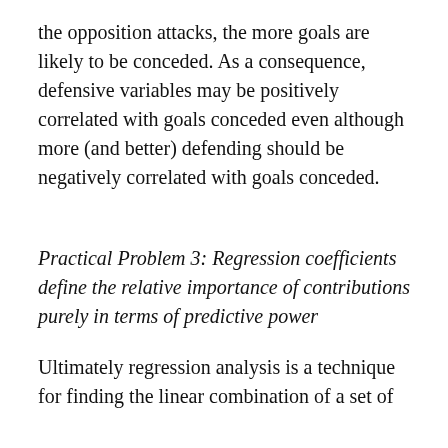the opposition attacks, the more goals are likely to be conceded. As a consequence, defensive variables may be positively correlated with goals conceded even although more (and better) defending should be negatively correlated with goals conceded.
Practical Problem 3: Regression coefficients define the relative importance of contributions purely in terms of predictive power
Ultimately regression analysis is a technique for finding the linear combination of a set of